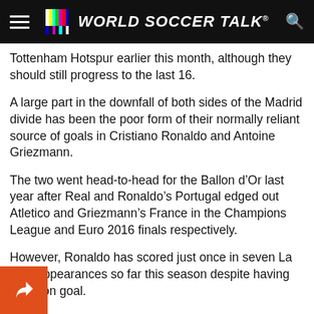WORLD SOCCER TALK
Tottenham Hotspur earlier this month, although they should still progress to the last 16.
A large part in the downfall of both sides of the Madrid divide has been the poor form of their normally reliant source of goals in Cristiano Ronaldo and Antoine Griezmann.
The two went head-to-head for the Ballon d’Or last year after Real and Ronaldo’s Portugal edged out Atletico and Griezmann’s France in the Champions League and Euro 2016 finals respectively.
However, Ronaldo has scored just once in seven La Liga appearances so far this season despite having shots on goal.